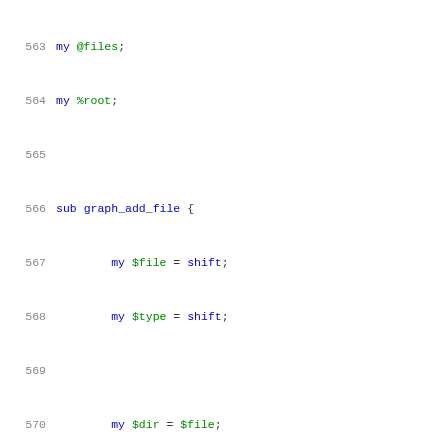563    my @files;
564    my %root;
565
566    sub graph_add_file {
567            my $file = shift;
568            my $type = shift;
569
570            my $dir = $file;
571            $dir =~ s,^(.*/).*,$1,;
572            $file =~ s,.*/,,;
573
574            my $name;
575            my $file_ref = \%root;
576            foreach my $edge(split "/", $dir) {
577                    $name .= "$edge/";
578                    if (!defined ${$file_ref}{$edge
579                            ${$file_ref}{$edge} = {
580                    }
581                    $file_ref = \%{$$file_ref{$edge
582                    ${$file_ref}{"__name"} = [ $nam
583            }
584            $name .= "$file";